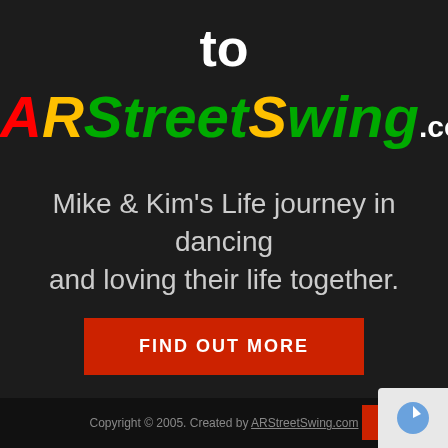to
ARStreetSwing.com
Mike & Kim's Life journey in dancing and loving their life together.
FIND OUT MORE
Copyright © 2005. Created by ARStreetSwing.com
TOP ⊙